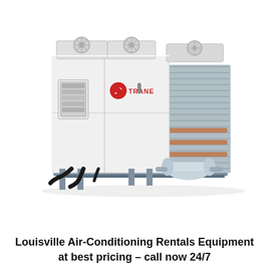[Figure (photo): Industrial air-cooled chiller unit (Trane brand) — a large white rectangular HVAC chiller with cooling fans on top, grey condenser coil sections on the right side, black refrigerant piping at the base, mounted on a grey steel skid frame. The Trane logo (red leaf/symbol and red 'TRANE' text) is visible on the front panel.]
Louisville Air-Conditioning Rentals Equipment at best pricing – call now 24/7